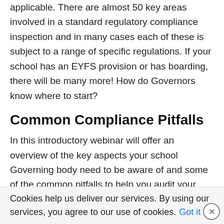applicable. There are almost 50 key areas involved in a standard regulatory compliance inspection and in many cases each of these is subject to a range of specific regulations. If your school has an EYFS provision or has boarding, there will be many more! How do Governors know where to start?
Common Compliance Pitfalls
In this introductory webinar will offer an overview of the key aspects your school Governing body need to be aware of and some of the common pitfalls to help you audit your provision. We cannot go through every standard and regulation but by the end of this course, you will have all the information you need to know
Cookies help us deliver our services. By using our services, you agree to our use of cookies. Got it